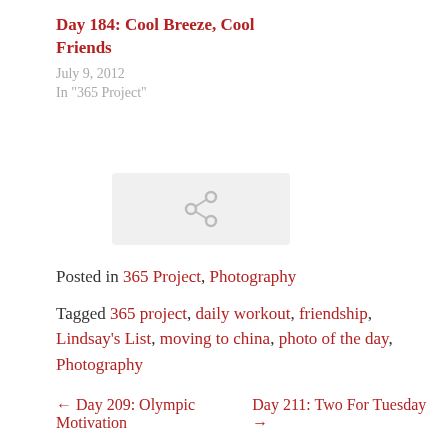Day 184: Cool Breeze, Cool Friends
July 9, 2012
In "365 Project"
[Figure (other): Share/social icon button box with a link/share symbol in gray]
Posted in 365 Project, Photography
Tagged 365 project, daily workout, friendship, Lindsay's List, moving to china, photo of the day, Photography
← Day 209: Olympic Motivation  Day 211: Two For Tuesday →